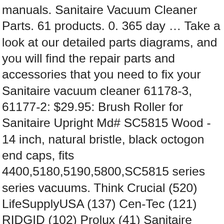manuals. Sanitaire Vacuum Cleaner Parts. 61 products. 0. 365 day … Take a look at our detailed parts diagrams, and you will find the repair parts and accessories that you need to fix your Sanitaire vacuum cleaner 61178-3, 61177-2: $29.95: Brush Roller for Sanitaire Upright Md# SC5815 Wood - 14 inch, natural bristle, black octogon end caps, fits 4400,5180,5190,5800,SC5815 series series vacuums. Think Crucial (520) LifeSupplyUSA (137) Cen-Tec (121) RIDGID (102) Prolux (41) Sanitaire model numbers are found on the data plate or data label on the machine. Free shipping on many items. 877-346-4814. Shop for sanitaire vacuum parts online at Target. Genuine Eureka Sanitaire Upright Vacuum Brush Roll By Sanitaire… Pre-Owned. 3 38956-1SV Sanitaire S3681A Vacuum FRONT COVER ASSEMBLY Top Rated Seller Top Rated Seller. SC886-E vacuum cleaner pdf manual download. Sanitaire Vacuum Parts - SanitaireCommercialVacuum.com We carry a large assortment of Sanitaire vacuum parts for all models. Repair your Sanitaire Vacuum Cleaner for less. This part has been